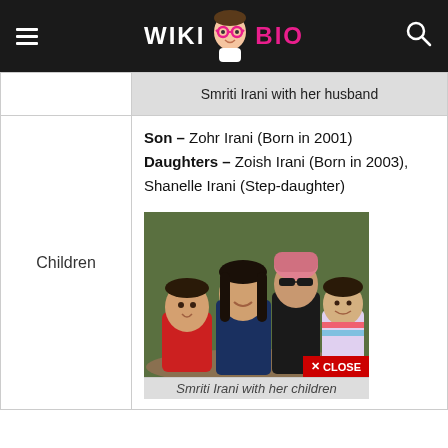WIKI BIO
Smriti Irani with her husband
Son – Zohr Irani (Born in 2001)
Daughters – Zoish Irani (Born in 2003), Shanelle Irani (Step-daughter)
[Figure (photo): Smriti Irani with her children — a family photo showing four people outdoors]
Smriti Irani with her children